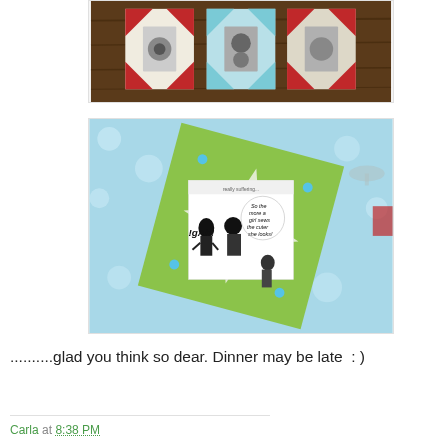[Figure (photo): Three quilt blocks with red and white triangle corner pieces and printed fabric centers, arranged on a dark wood surface.]
[Figure (photo): A quilt block featuring a vintage-style comic strip panel centered on green geometric fabric, framed by light blue fabric. The comic shows a couple with a speech bubble reading 'So the more a girl sews the cuter she looks!']
..........glad you think so dear. Dinner may be late  : )
Carla at 8:38 PM